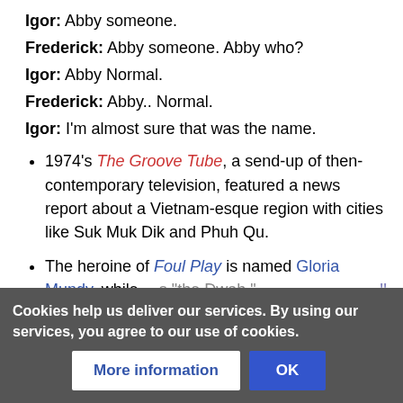Igor: Abby someone.
Frederick: Abby someone. Abby who?
Igor: Abby Normal.
Frederick: Abby.. Normal.
Igor: I'm almost sure that was the name.
1974's The Groove Tube, a send-up of then-contemporary television, featured a news report about a Vietnam-esque region with cities like Suk Muk Dik and Phuh Qu.
The heroine of Foul Play is named Gloria Mundy, while ...s "the Dwah."
In The Adve... Robin
Cookies help us deliver our services. By using our services, you agree to our use of cookies.